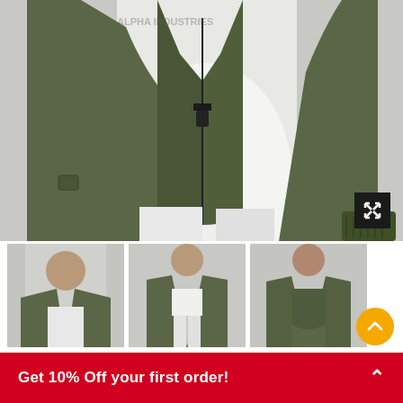[Figure (photo): Close-up torso shot of a male model wearing an olive green bomber jacket over a white t-shirt and white pants, holding a red branded zipper pull]
[Figure (photo): Three thumbnail images of a male model wearing an olive green bomber jacket: front view, full-body front view, and back view]
Get 10% Off your first order!